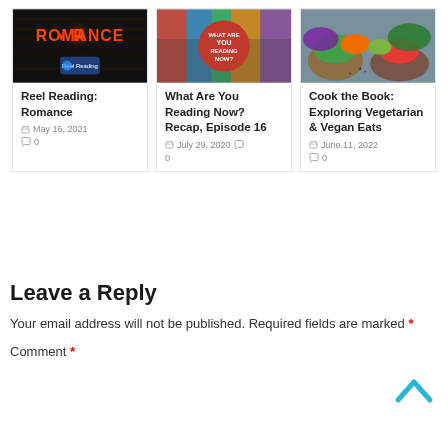[Figure (infographic): Blog card thumbnail for Reel Reading: Romance — dark background with neon ROMANCE text and heart.]
Reel Reading: Romance
May 16, 2021
0
[Figure (infographic): Blog card thumbnail for What Are You Reading Now? — colorful books top-down with red circle overlay text.]
What Are You Reading Now? Recap, Episode 16
July 29, 2020
0
[Figure (photo): Blog card thumbnail for Cook the Book — vegetarian dishes with colorful vegetables.]
Cook the Book: Exploring Vegetarian & Vegan Eats
June 11, 2022
0
Leave a Reply
Your email address will not be published. Required fields are marked *
Comment *